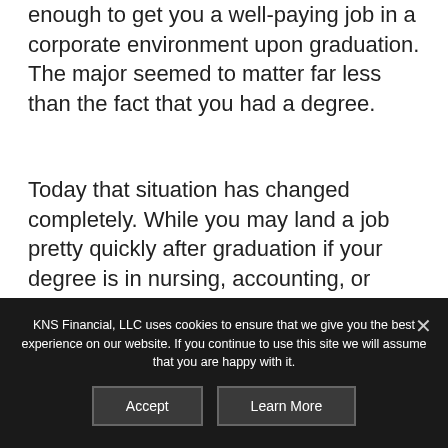enough to get you a well-paying job in a corporate environment upon graduation. The major seemed to matter far less than the fact that you had a degree.
Today that situation has changed completely. While you may land a job pretty quickly after graduation if your degree is in nursing, accounting, or information technology, a degree in the soft sciences, such as sociology, philosophy or English literature, are mostly seen as advanced high school diplomas.
KNS Financial, LLC uses cookies to ensure that we give you the best experience on our website. If you continue to use this site we will assume that you are happy with it.